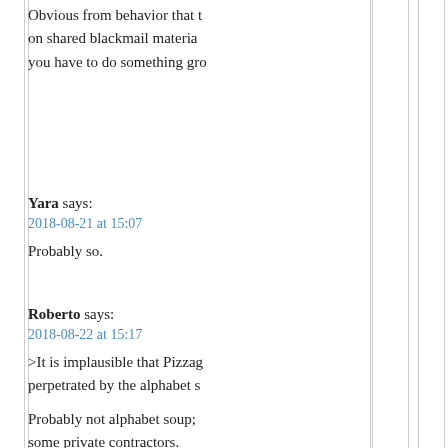Obvious from behavior that t... on shared blackmail materia... you have to do something gro...
Yara says:
2018-08-21 at 15:07

Probably so.
Roberto says:
2018-08-22 at 15:17

>It is implausible that Pizzag... perpetrated by the alphabet s...

Probably not alphabet soup;... some private contractors.
Yara says:
2018-08-23 at 00:41

>Probably not alphabet sou... style of some private contract...

Pizzagate the supposedly fa... the true evidence dredged u...